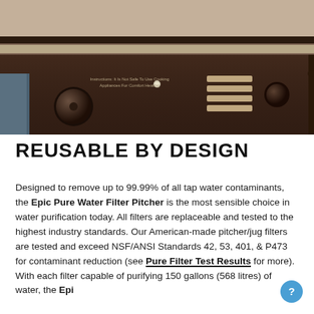[Figure (photo): Vintage brown radio/appliance with knobs, buttons, display panel, and a teal/blue object visible at left edge. Warm sepia tones.]
REUSABLE BY DESIGN
Designed to remove up to 99.99% of all tap water contaminants, the Epic Pure Water Filter Pitcher is the most sensible choice in water purification today. All filters are replaceable and tested to the highest industry standards. Our American-made pitcher/jug filters are tested and exceed NSF/ANSI Standards 42, 53, 401, & P473 for contaminant reduction (see Pure Filter Test Results for more). With each filter capable of purifying 150 gallons (568 litres) of water, the Epic Pure Pitcher...